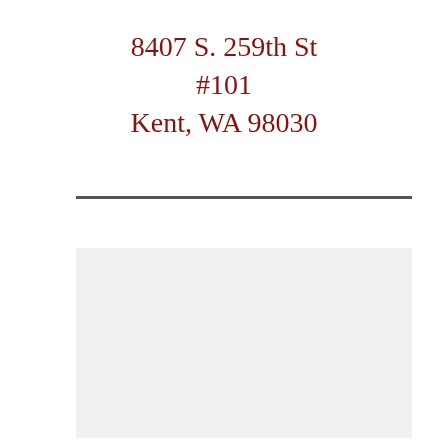8407 S. 259th St
#101
Kent, WA 98030
[Figure (other): Horizontal dark gray divider line across the page]
[Figure (other): Large light gray rectangular box filling the lower portion of the page]